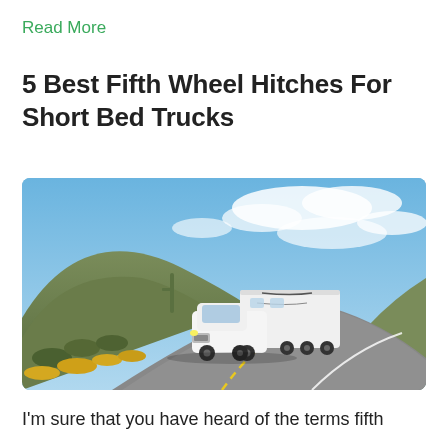Read More
5 Best Fifth Wheel Hitches For Short Bed Trucks
[Figure (photo): A white pickup truck towing a large white fifth-wheel trailer on a winding desert highway, with a rocky hill covered in desert scrub and yellow wildflowers on the left, and a partly cloudy blue sky above.]
I'm sure that you have heard of the terms fifth wheel. More about the topic...